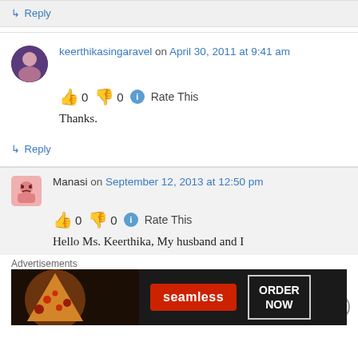↳ Reply
keerthikasingaravel on April 30, 2011 at 9:41 am
👍 0 👎 0 ℹ Rate This
Thanks.
↳ Reply
Manasi on September 12, 2013 at 12:50 pm
👍 0 👎 0 ℹ Rate This
Hello Ms. Keerthika, My husband and I
Advertisements
[Figure (screenshot): Seamless food ordering advertisement banner with pizza image, seamless logo button, and ORDER NOW button]